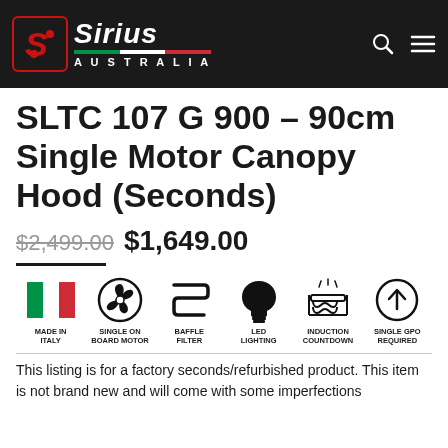[Figure (logo): Sirius Australia logo on dark background header with search and menu icons]
SLTC 107 G 900 – 90cm Single Motor Canopy Hood (Seconds)
$2,499.00 $1,649.00
[Figure (infographic): Six product feature icons: Made in Italy (Italian flag), Single On Board Motor (fan icon), Baffle Filter, LED Lighting (lightbulb), Induction Countdown (coil), Single GPO Required (arrow circle)]
This listing is for a factory seconds/refurbished product. This item is not brand new and will come with some imperfections